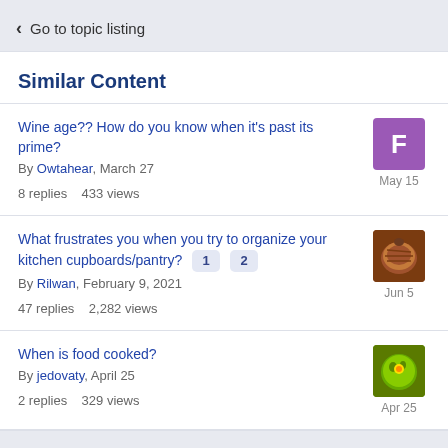< Go to topic listing
Similar Content
Wine age?? How do you know when it's past its prime?
By Owtahear, March 27
8 replies   433 views
What frustrates you when you try to organize your kitchen cupboards/pantry? 1 2
By Rilwan, February 9, 2021
47 replies   2,282 views
When is food cooked?
By jedovaty, April 25
2 replies   329 views